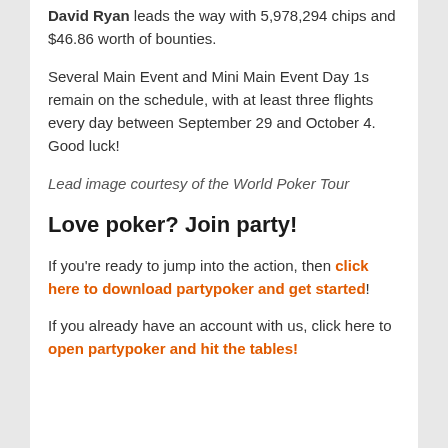David Ryan leads the way with 5,978,294 chips and $46.86 worth of bounties.
Several Main Event and Mini Main Event Day 1s remain on the schedule, with at least three flights every day between September 29 and October 4. Good luck!
Lead image courtesy of the World Poker Tour
Love poker? Join party!
If you're ready to jump into the action, then click here to download partypoker and get started!
If you already have an account with us, click here to open partypoker and hit the tables!